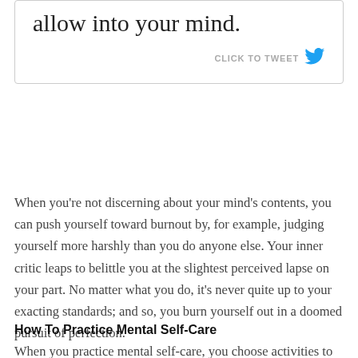allow into your mind.
CLICK TO TWEET
When you're not discerning about your mind's contents, you can push yourself toward burnout by, for example, judging yourself more harshly than you do anyone else. Your inner critic leaps to belittle you at the slightest perceived lapse on your part. No matter what you do, it's never quite up to your exacting standards; and so, you burn yourself out in a doomed pursuit of perfection.
Here's what will help.
How To Practice Mental Self-Care
When you practice mental self-care, you choose activities to declutter your mind and reduce your